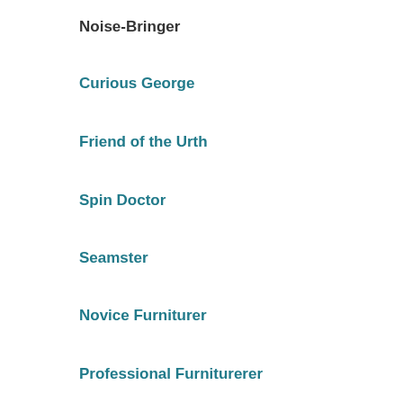Noise-Bringer
Curious George
Friend of the Urth
Spin Doctor
Seamster
Novice Furniturer
Professional Furniturerer